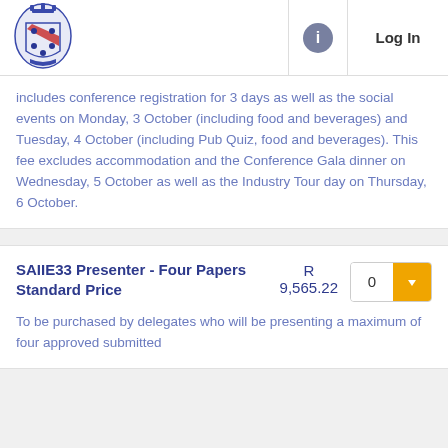[Figure (logo): Institutional crest/coat of arms logo in blue and red]
Log In
includes conference registration for 3 days as well as the social events on Monday, 3 October (including food and beverages) and Tuesday, 4 October (including Pub Quiz, food and beverages). This fee excludes accommodation and the Conference Gala dinner on Wednesday, 5 October as well as the Industry Tour day on Thursday, 6 October.
SAIIE33 Presenter - Four Papers Standard Price
R 9,565.22
To be purchased by delegates who will be presenting a maximum of four approved submitted